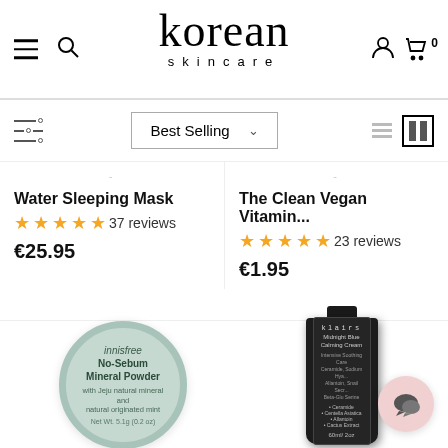korean skincare
Best Selling
Water Sleeping Mask ★★★★★ 37 reviews €25.95
The Clean Vegan Vitamin... ★★★★★ 23 reviews €1.95
[Figure (photo): innisfree No-Sebum Mineral Powder product in circular mint-colored compact container]
[Figure (photo): klairs Midnight Blue Calming Cream black tube product]